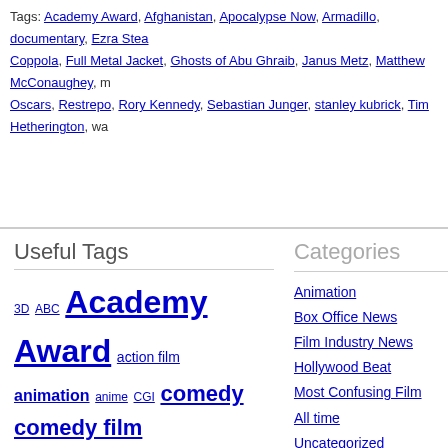Tags: Academy Award, Afghanistan, Apocalypse Now, Armadillo, documentary, Ezra Stead, Coppola, Full Metal Jacket, Ghosts of Abu Ghraib, Janus Metz, Matthew McConaughey, m..., Oscars, Restrepo, Rory Kennedy, Sebastian Junger, stanley kubrick, Tim Hetherington, wa...
Useful Tags
3D ABC Academy Award action film animation anime CGI comedy comedy film corey birkhofer disney documentary Ezra Stead film film industry news filmmaking film review film reviews Hitchcock hollywood horror horror film horror films Japanese Cinema Japanese Film jason a hill jason hill John
Categories
Animation
Box Office News
Film Industry News
Hollywood Beat
Most Confusing Film All time
Uncategorized
Article Archives
Article Archives [Select]